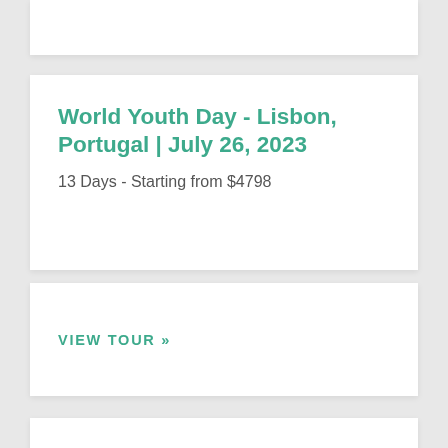World Youth Day - Lisbon, Portugal | July 26, 2023
13 Days - Starting from $4798
VIEW TOUR »
Oberammergau Passion Play & AmaWaterways River Cruise with